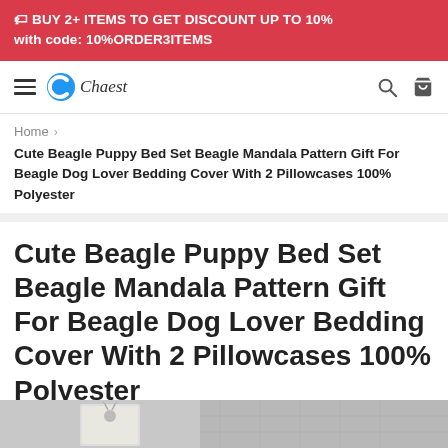🏷 BUY 2+ ITEMS TO GET DISCOUNT UP TO 10% with code: 10%ORDER3ITEMS
[Figure (logo): Chaest store logo with blue C icon and italic Chaest text]
Home >
Cute Beagle Puppy Bed Set Beagle Mandala Pattern Gift For Beagle Dog Lover Bedding Cover With 2 Pillowcases 100% Polyester
Cute Beagle Puppy Bed Set Beagle Mandala Pattern Gift For Beagle Dog Lover Bedding Cover With 2 Pillowcases 100% Polyester
[Figure (photo): Partial product photo at bottom of page showing bedding items]